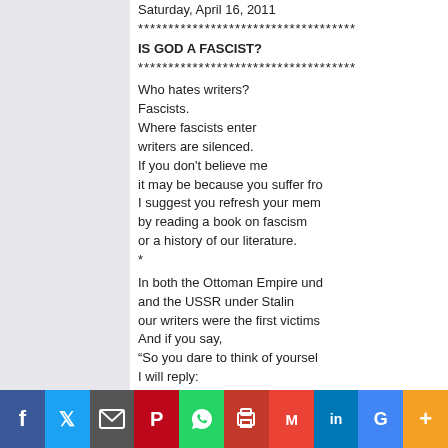Saturday, April 16, 2011
************************************
IS GOD A FASCIST?
************************************
Who hates writers?
Fascists.
Where fascists enter
writers are silenced.
If you don't believe me
it may be because you suffer fro
I suggest you refresh your mem
by reading a book on fascism
or a history of our literature.
*
In both the Ottoman Empire und
and the USSR under Stalin
our writers were the first victims
And if you say,
“So you dare to think of yoursel
I will reply:
“I don't speak as a writer.
I speak as a witness
who refuses to be a dupe
and to recycle the propaganda
of our bosses, bishops, and ber
who speak in the name of God
(make it, Capital and god):